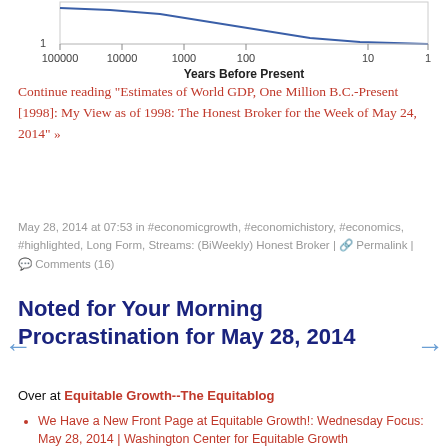[Figure (continuous-plot): Bottom portion of a logarithmic line chart showing 'Years Before Present' on x-axis (100000 to 1) and y-axis starting at 1. A blue line is visible at top. X-axis labels: 100000, 10000, 1000, 100, 10, 1. X-axis title: 'Years Before Present'.]
Continue reading "Estimates of World GDP, One Million B.C.-Present [1998]: My View as of 1998: The Honest Broker for the Week of May 24, 2014" »
May 28, 2014 at 07:53 in #economicgrowth, #economichistory, #economics, #highlighted, Long Form, Streams: (BiWeekly) Honest Broker | Permalink | Comments (16)
Noted for Your Morning Procrastination for May 28, 2014
Over at Equitable Growth--The Equitablog
We Have a New Front Page at Equitable Growth!: Wednesday Focus: May 28, 2014 | Washington Center for Equitable Growth
Morning Must-Read: Christian Broda and Jonathan A. Parker: The Economic Stimulus Payments of 2008 and the Aggregate Demand for Consumption | Washington Center for Equitable Growth